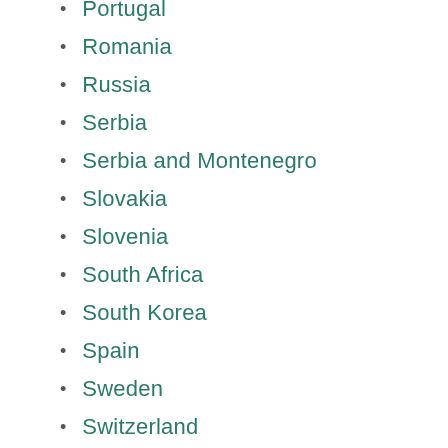Portugal
Romania
Russia
Serbia
Serbia and Montenegro
Slovakia
Slovenia
South Africa
South Korea
Spain
Sweden
Switzerland
Taiwan
Thailand
Tunisia
Turkey
Ukraine
United Kingdom
Uruguay
USA